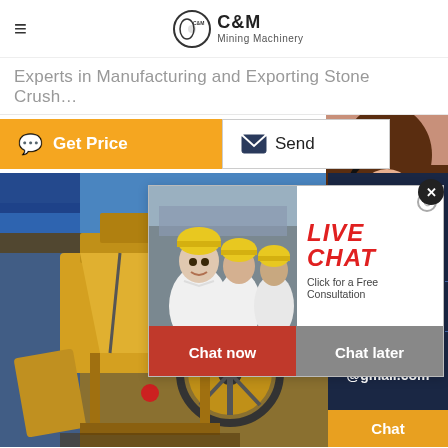C&M Mining Machinery
Experts in Manufacturing and Exporting Stone Crush...
[Figure (screenshot): Website screenshot showing C&M Mining Machinery page with Get Price and Send buttons, Live Chat popup with workers in hard hats and consultation call-to-action buttons (Chat now / Chat later), right sidebar with Quotation, Enquiry, drobilkalm@gmail.com, and Chat options, and a yellow mining crusher machine image in the background.]